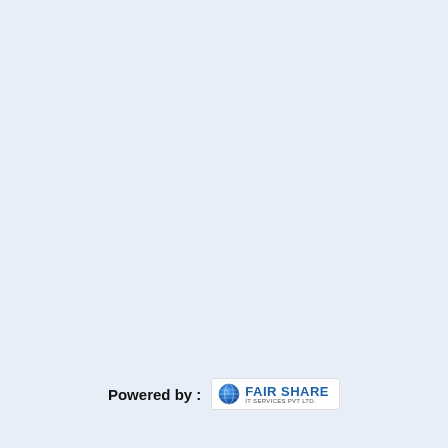Powered by : FAIR SHARE IT SERVICES PVT LTD.